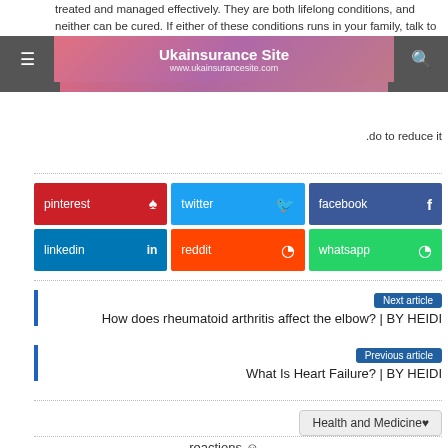treated and managed effectively. They are both lifelong conditions, and neither can be cured. If either of these conditions runs in your family, talk to your doctor about your specific risk and what you can do to reduce it
[Figure (screenshot): Ukainsurance Site banner overlay with navigation hamburger and search icons]
[Figure (infographic): Social sharing buttons: pinterest, twitter, facebook, linkedin, reddit, whatsapp]
Next article
How does rheumatoid arthritis affect the elbow? | BY HEIDI
Previous article
What Is Heart Failure? | BY HEIDI
Health and Medicine
reactions